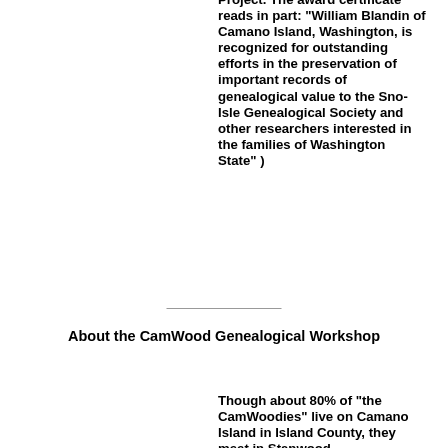Project. The award certificate reads in part: "William Blandin of Camano Island, Washington, is recognized for outstanding efforts in the preservation of important records of genealogical value to the Sno-Isle Genealogical Society and other researchers interested in the families of Washington State" )
About the CamWood Genealogical Workshop
Though about 80% of "the CamWoodies" live on Camano Island in Island County, they meet in Stanwood